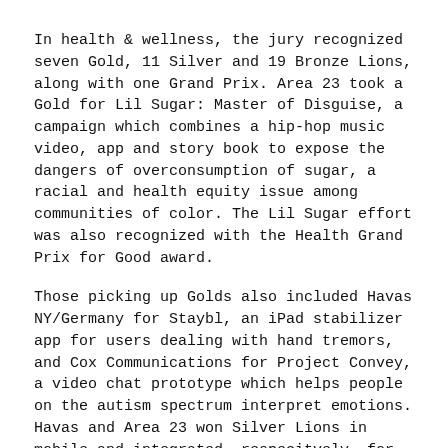In health & wellness, the jury recognized seven Gold, 11 Silver and 19 Bronze Lions, along with one Grand Prix. Area 23 took a Gold for Lil Sugar: Master of Disguise, a campaign which combines a hip-hop music video, app and story book to expose the dangers of overconsumption of sugar, a racial and health equity issue among communities of color. The Lil Sugar effort was also recognized with the Health Grand Prix for Good award.
Those picking up Golds also included Havas NY/Germany for Staybl, an iPad stabilizer app for users dealing with hand tremors, and Cox Communications for Project Convey, a video chat prototype which helps people on the autism spectrum interpret emotions. Havas and Area 23 won Silver Lions in mobile and integrated, respecitvely, for their Gold-winning campaigns.
Taking home the category's Grand Prix was VMLY&R Mumbai's The Killer Pack, biodegradable packaging which also helps fight mosquito-related diseases, executed on behalf of mosquito repellent brand Maxx Flash.
On that note, a few more notes on design at the...